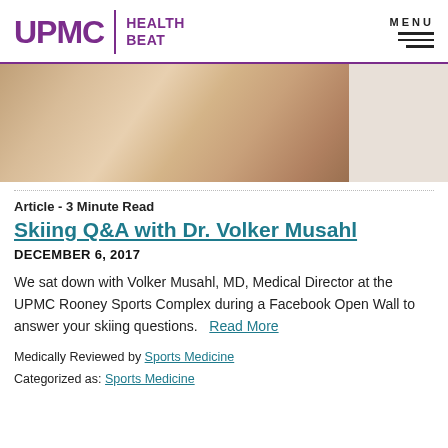UPMC | HEALTH BEAT  MENU
[Figure (photo): Close-up photo of a knee with a bandage/dressing applied, person seated on an examination table]
Article - 3 Minute Read
Skiing Q&A with Dr. Volker Musahl
DECEMBER 6, 2017
We sat down with Volker Musahl, MD, Medical Director at the UPMC Rooney Sports Complex during a Facebook Open Wall to answer your skiing questions.   Read More
Medically Reviewed by Sports Medicine
Categorized as: Sports Medicine